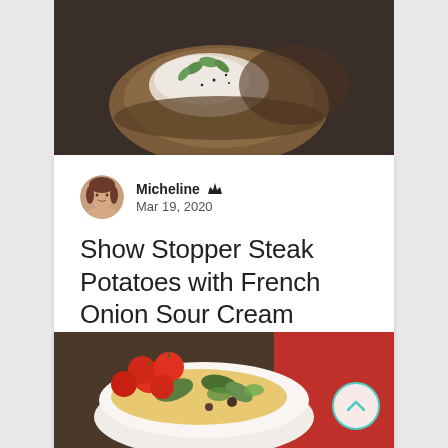[Figure (photo): Close-up photo of a baked potato topped with sour cream and green herbs/mint leaves, with dark background]
Micheline  Mar 19, 2020
Show Stopper Steak Potatoes with French Onion Sour Cream
A big time flavor tater coated in Montreal Style Steak Seasoning, cooked in a special way for...
[Figure (photo): Photo of a salad with cherry tomatoes and mixed grains in a white bowl with red cloth, with a teal scroll-up button overlay]